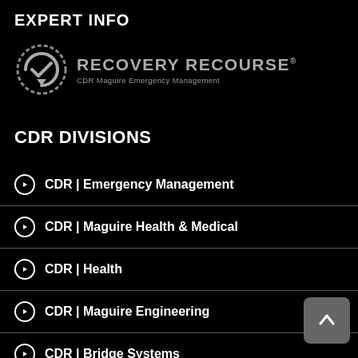EXPERT INFO
[Figure (logo): Recovery Recourse logo with circular arrow/checkmark icon. Text: RECOVERY RECOURSE® CDR Maguire Emergency Management]
CDR DIVISIONS
CDR | Emergency Management
CDR | Maguire Health & Medical
CDR | Health
CDR | Maguire Engineering
CDR | Bridge Systems